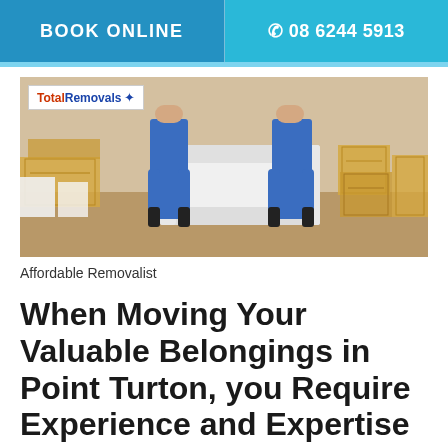BOOK ONLINE   📞 08 6244 5913
[Figure (photo): Two removalists in blue uniforms carrying a white sofa, surrounded by cardboard boxes, with a Total Removals logo overlay in top left corner.]
Affordable Removalist
When Moving Your Valuable Belongings in Point Turton, you Require Experience and Expertise By Your Side!
We take every small detail into consideration to ensure